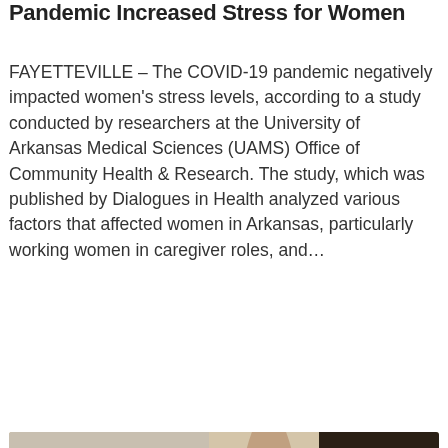Pandemic Increased Stress for Women
FAYETTEVILLE – The COVID-19 pandemic negatively impacted women's stress levels, according to a study conducted by researchers at the University of Arkansas Medical Sciences (UAMS) Office of Community Health & Research. The study, which was published by Dialogues in Health analyzed various factors that affected women in Arkansas, particularly working women in caregiver roles, and…
Read more
[Figure (photo): Group of women wearing face masks indoors, some seated and some standing, in what appears to be a community health setting during the COVID-19 pandemic.]